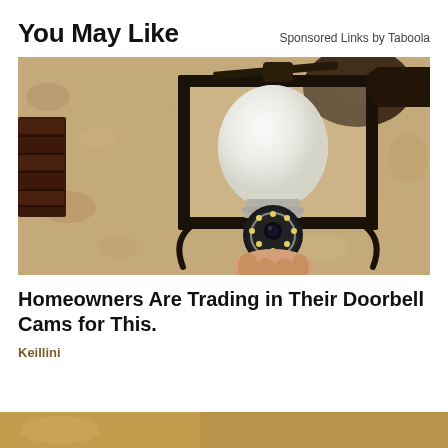You May Like
Sponsored Links by Taboola
[Figure (photo): A person installing a white smart camera bulb (with LED ring and camera lens at bottom) into a black outdoor lantern fixture mounted on a textured stucco wall.]
Homeowners Are Trading in Their Doorbell Cams for This.
Keillini